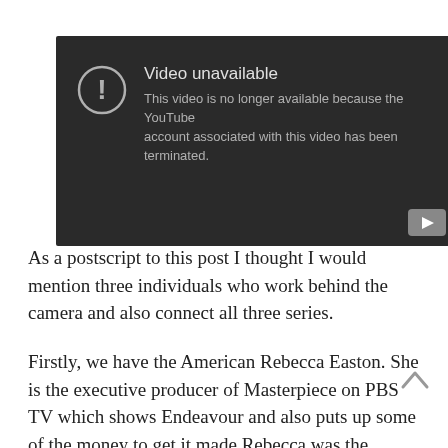[Figure (screenshot): YouTube 'Video unavailable' error screen with dark background. Shows an exclamation mark icon in a circle, title 'Video unavailable', message 'This video is no longer available because the YouTube account associated with this video has been terminated.' A YouTube play button icon appears bottom right.]
As a postscript to this post I thought I would mention three individuals who work behind the camera and also connect all three series.
Firstly, we have the American Rebecca Easton. She is the executive producer of Masterpiece on PBS TV which shows Endeavour and also puts up some of the money to get it made.Rebecca was the executive producer for three Morse episodes, 'Death is Now My Neighbour', 'The Wench is Dead' and 'The Remorseful Day'. She also executive